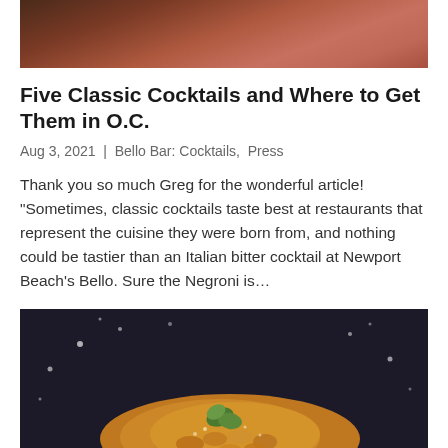[Figure (photo): Top portion of a restaurant interior photo showing warm reddish-orange tones, wooden floors and ambient lighting]
Five Classic Cocktails and Where to Get Them in O.C.
Aug 3, 2021 | Bello Bar: Cocktails, Press
Thank you so much Greg for the wonderful article! “Sometimes, classic cocktails taste best at restaurants that represent the cuisine they were born from, and nothing could be tastier than an Italian bitter cocktail at Newport Beach’s Bello. Sure the Negroni is…
[Figure (photo): Close-up photo of pasta dish (small tube-shaped pasta) with a fresh basil leaf garnish and grated cheese, served on a dark plate with dark background]